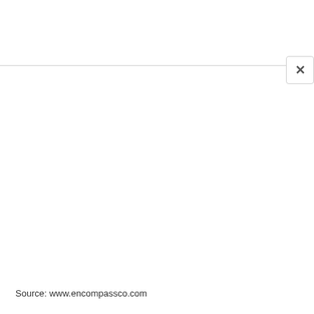[Figure (screenshot): A browser dialog or popup UI element showing a horizontal divider line near the top and a close (X) button in the upper right corner.]
Source: www.encompassco.com